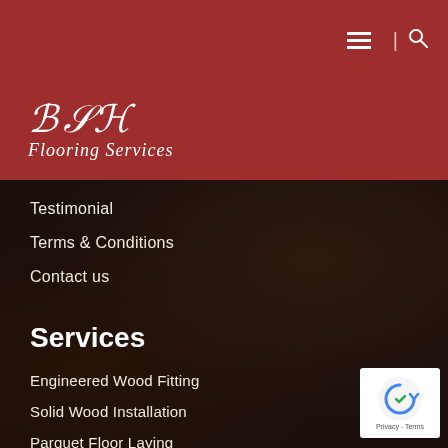[Figure (logo): BSN Flooring Services logo in white italic script on dark red background]
Testimonial
Terms & Conditions
Contact us
Services
Engineered Wood Fitting
Solid Wood Installation
Parquet Floor Laying